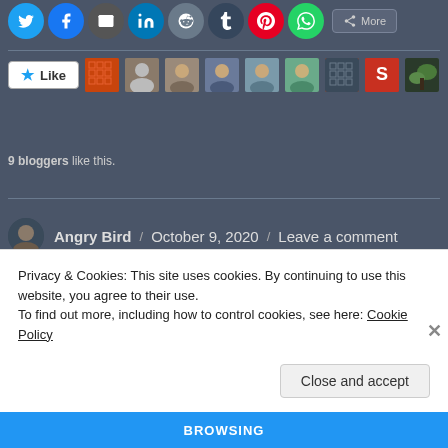[Figure (screenshot): Social sharing icons row: Twitter, Facebook, Email, LinkedIn, Reddit, Tumblr, Pinterest, WhatsApp, and More button]
[Figure (screenshot): Like button with star icon followed by 9 blogger avatar thumbnails]
9 bloggers like this.
Angry Bird / October 9, 2020 / Leave a comment
Privacy & Cookies: This site uses cookies. By continuing to use this website, you agree to their use.
To find out more, including how to control cookies, see here: Cookie Policy
Close and accept